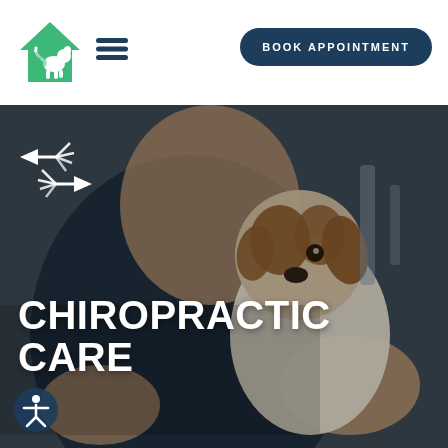[Figure (logo): Green house-shaped logo with dog and cat silhouettes inside]
[Figure (other): Hamburger menu icon (three horizontal lines)]
BOOK APPOINTMENT
[Figure (photo): Veterinarian or chiropractor in dark scrubs holding a Jack Russell Terrier dog, background shows medical/clinic setting. Overlaid white text reads CHIROPRACTIC CARE. A spine/adjustment icon with arrows appears in upper left of image.]
CHIROPRACTIC CARE
[Figure (other): Accessibility icon - circle with human figure, dark blue background]